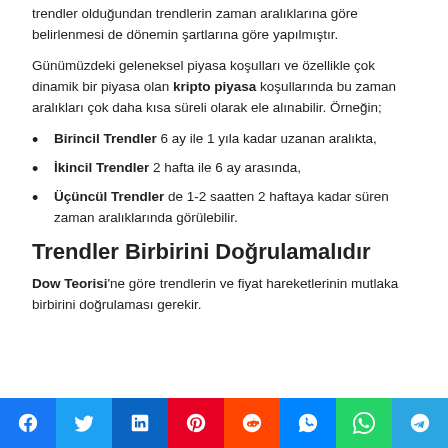trendler olduğundan trendlerin zaman aralıklarına göre belirlenmesi de dönemin şartlarına göre yapılmıştır.
Günümüzdeki geleneksel piyasa koşulları ve özellikle çok dinamik bir piyasa olan kripto piyasa koşullarında bu zaman aralıkları çok daha kısa süreli olarak ele alınabilir. Örneğin;
Birincil Trendler 6 ay ile 1 yıla kadar uzanan aralıkta,
İkincil Trendler 2 hafta ile 6 ay arasında,
Üçüncül Trendler de 1-2 saatten 2 haftaya kadar süren zaman aralıklarında görülebilir.
Trendler Birbirini Doğrulamalıdır
Dow Teorisi'ne göre trendlerin ve fiyat hareketlerinin mutlaka birbirini doğrulaması gerekir.